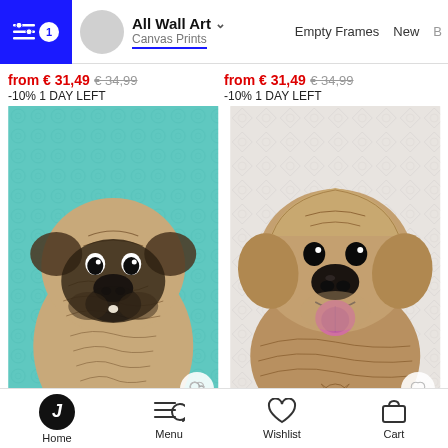All Wall Art | Canvas Prints | Empty Frames | New
from € 31,49 € 34,99 -10% 1 DAY LEFT
from € 31,49 € 34,99 -10% 1 DAY LEFT
[Figure (illustration): Decorative illustration of a pug dog with mandala/zentangle patterns on a teal background]
[Figure (illustration): Decorative illustration of a golden retriever dog with mandala/zentangle patterns on a light grey background]
Home | Menu | Wishlist | Cart